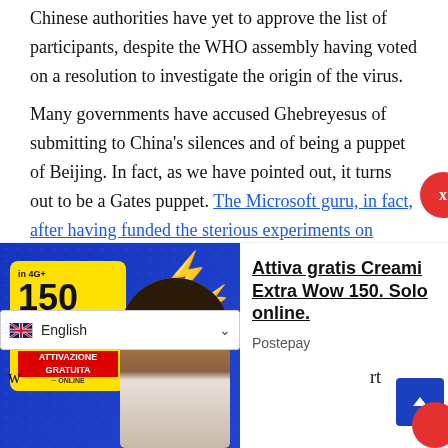Chinese authorities have yet to approve the list of participants, despite the WHO assembly having voted on a resolution to investigate the origin of the virus.
Many governments have accused Ghebreyesus of submitting to China’s silences and of being a puppet of Beijing. In fact, as we have pointed out, it turns out to be a Gates puppet. The Microsoft guru, in fact, after having funded the …sterious experiments on SARS superviruses …ected with HIV as if to look for an AIDS
[Figure (photo): Advertisement banner for Postepay Creami Extra Wow 150 GIGA mobile plan, showing a yellow card with '150 GIGA' text and a person celebrating, with text 'Attiva gratis Creami Extra Wow 150. Solo online.' and Postepay branding]